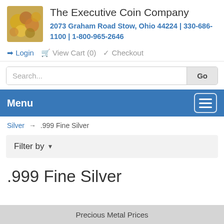The Executive Coin Company
2073 Graham Road Stow, Ohio 44224 | 330-686-1100 | 1-800-965-2646
Login  View Cart (0)  Checkout
Search...
Menu
Silver → .999 Fine Silver
Filter by
.999 Fine Silver
Precious Metal Prices